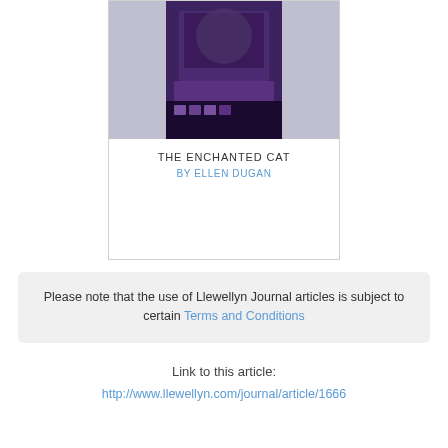[Figure (illustration): Book cover thumbnail for 'The Enchanted Cat' by Ellen Dugan, showing a cat image with purple and dark tones, partially blurred background]
THE ENCHANTED CAT
BY ELLEN DUGAN
Please note that the use of Llewellyn Journal articles is subject to certain Terms and Conditions
Link to this article: http://www.llewellyn.com/journal/article/1666